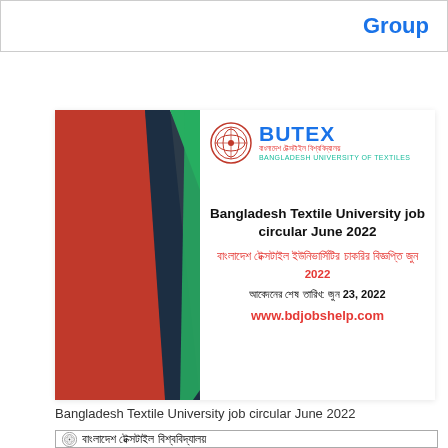Group
[Figure (illustration): BUTEX Bangladesh University of Textiles job circular promotional card with diagonal red/dark/green decorative bands on left and BUTEX logo, job title text in English and Bengali, deadline June 23 2022, and website www.bdjobshelp.com]
Bangladesh Textile University job circular June 2022
[Figure (illustration): Bangladesh Textile University official seal/logo with Bengali text বাংলাদেশ টেক্সটাইল বিশ্ববিদ্যালয় at bottom of page]